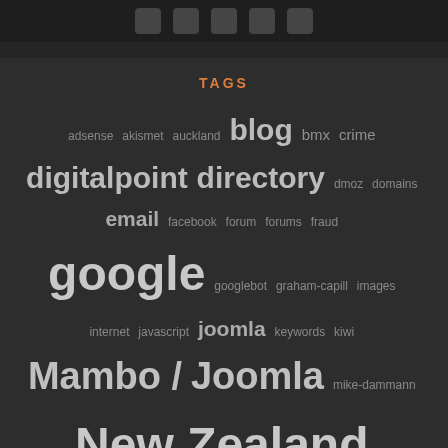[social icons row]
TAGS
adsense akismet auckland blog bmx crime digitalpoint directory dmoz domains email facebook forum forums fraud google googlebot graham-capill images internet javascript joomla keywords kiwi Mambo / Joomla mike-dammann mtb New Zealand odp phishing php property-investment rss scam seo serps sitemap spam submission trademe UK vbulletin viral-marketing wordpress xml